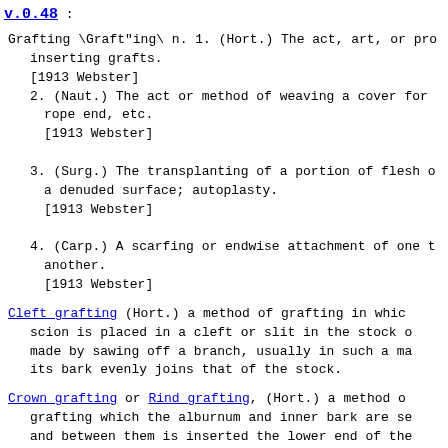v.0.48 :
Grafting \Graft"ing\ n. 1. (Hort.) The act, art, or pro inserting grafts.
[1913 Webster]
2. (Naut.) The act or method of weaving a cover for rope end, etc.
[1913 Webster]
3. (Surg.) The transplanting of a portion of flesh o a denuded surface; autoplasty.
[1913 Webster]
4. (Carp.) A scarfing or endwise attachment of one t another.
[1913 Webster]
Cleft grafting (Hort.) a method of grafting in which scion is placed in a cleft or slit in the stock o made by sawing off a branch, usually in such a ma its bark evenly joins that of the stock.
Crown grafting or Rind grafting, (Hort.) a method o grafting which the alburnum and inner bark are se and between them is inserted the lower end of the cut slantwise.
Saddle grafting, a mode of grafting in which a deep is made in the end of the scion by two sloping cu